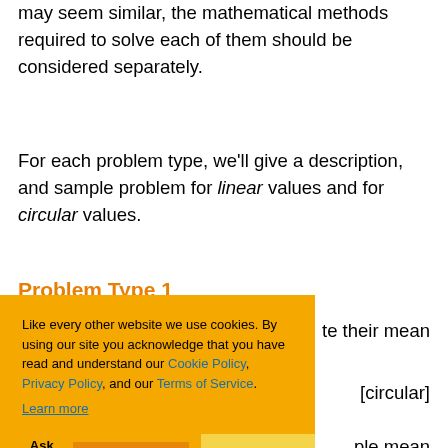may seem similar, the mathematical methods required to solve each of them should be considered separately.
For each problem type, we'll give a description, and sample problem for linear values and for circular values.
Problem Type 1
…te their mean
[circular]
ple mean
Examples: